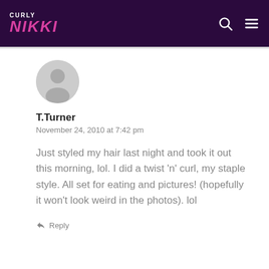CURLY NIKKI
[Figure (illustration): Default user avatar - grey circular silhouette of a person]
T.Turner
November 24, 2010 at 7:42 pm
Just styled my hair last night and took it out this morning, lol. I did a twist 'n' curl, my staple style. All set for eating and pictures! (hopefully it won't look weird in the photos). lol
Reply